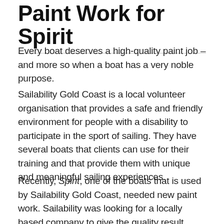Paint Work for Spirit
Every boat deserves a high-quality paint job – and more so when a boat has a very noble purpose.
Sailability Gold Coast is a local volunteer organisation that provides a safe and friendly environment for people with a disability to participate in the sport of sailing. They have several boats that clients can use for their training and that provide them with unique and meaningful sailing experiences.
Recently, Spirit, one of the boats that is used by Sailability Gold Coast, needed new paint work. Sailability was looking for a locally based company to give the quality result without a massive price tag. "The last job on the boat was nowhere near what it